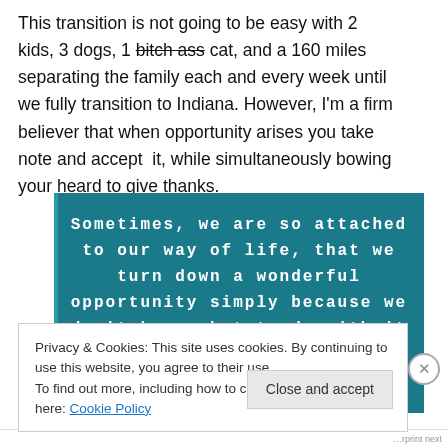This transition is not going to be easy with 2 kids, 3 dogs, 1 bitch ass cat, and a 160 miles separating the family each and every week until we fully transition to Indiana. However, I'm a firm believer that when opportunity arises you take note and accept it, while simultaneously bowing your heard to give thanks.
[Figure (illustration): Dark teal/blue background image with white handwritten-style text reading: SOMETIMES, WE ARE SO ATTACHED TO OUR WAY OF LIFE, THAT WE TURN DOWN A WONDERFUL OPPORTUNITY SIMPLY BECAUSE WE DON'T KNOW WHAT TO DO WITH IT]
Privacy & Cookies: This site uses cookies. By continuing to use this website, you agree to their use. To find out more, including how to control cookies, see here: Cookie Policy